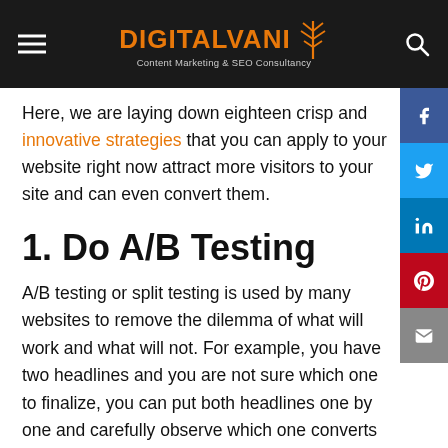DIGITALVANI Content Marketing & SEO Consultancy
Here, we are laying down eighteen crisp and innovative strategies that you can apply to your website right now attract more visitors to your site and can even convert them.
1. Do A/B Testing
A/B testing or split testing is used by many websites to remove the dilemma of what will work and what will not. For example, you have two headlines and you are not sure which one to finalize, you can put both headlines one by one and carefully observe which one converts the most. And now you have your answer!